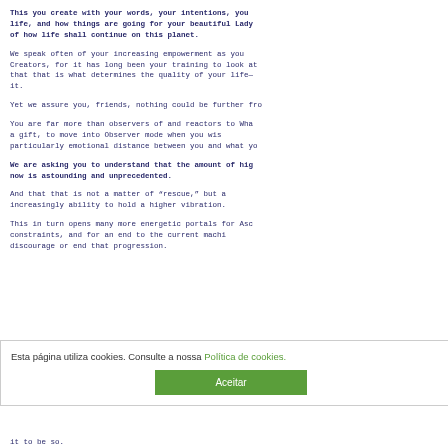This you create with your words, your intentions, you life, and how things are going for your beautiful Lady of how life shall continue on this planet.
We speak often of your increasing empowerment as you Creators, for it has long been your training to look at that that is what determines the quality of your life— it.
Yet we assure you, friends, nothing could be further fro
You are far more than observers of and reactors to Wha a gift, to move into Observer mode when you wis particularly emotional distance between you and what yo
We are asking you to understand that the amount of hig now is astounding and unprecedented.
And that that is not a matter of “rescue,” but a increasingly ability to hold a higher vibration.
This in turn opens many more energetic portals for Asc constraints, and for an end to the current machi discourage or end that progression.
Esta página utiliza cookies. Consulte a nossa Política de cookies.
Aceitar
it to be so.